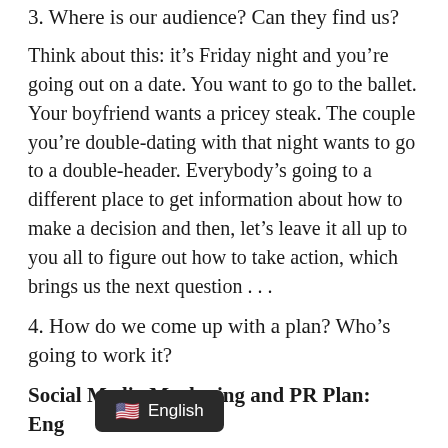3. Where is our audience? Can they find us?
Think about this: it’s Friday night and you’re going out on a date. You want to go to the ballet. Your boyfriend wants a pricey steak. The couple you’re double-dating with that night wants to go to a double-header. Everybody’s going to a different place to get information about how to make a decision and then, let’s leave it all up to you all to figure out how to take action, which brings us the next question . . .
4. How do we come up with a plan? Who’s going to work it?
Social Media Marketing and PR Plan:
Engagement Levels